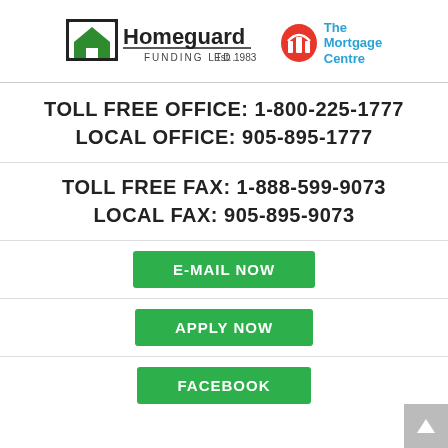[Figure (logo): Homeguard Funding Ltd. Est. 1983 logo and The Mortgage Centre logo side by side]
TOLL FREE OFFICE: 1-800-225-1777
LOCAL OFFICE: 905-895-1777
TOLL FREE FAX: 1-888-599-9073
LOCAL FAX: 905-895-9073
E-MAIL NOW
APPLY NOW
FACEBOOK